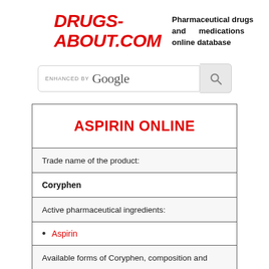DRUGS-ABOUT.COM
Pharmaceutical drugs and medications online database
[Figure (screenshot): ENHANCED BY Google search bar with search button]
ASPIRIN ONLINE
Trade name of the product:
Coryphen
Active pharmaceutical ingredients:
Aspirin
Available forms of Coryphen, composition and